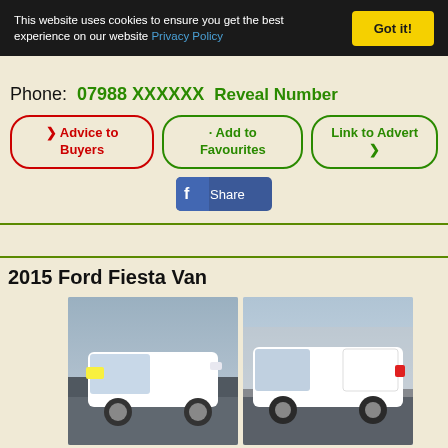This website uses cookies to ensure you get the best experience on our website Privacy Policy
Got it!
Phone: 07988 XXXXXX   Reveal Number
Advice to Buyers
Add to Favourites
Link to Advert
Share
2015 Ford Fiesta Van
[Figure (photo): 2015 Ford Fiesta Van - front three-quarter view, white]
[Figure (photo): 2015 Ford Fiesta Van - side view, white]
[Figure (photo): 2015 Ford Fiesta Van - interior/door detail]
[Figure (photo): 2015 Ford Fiesta Van - rear view]